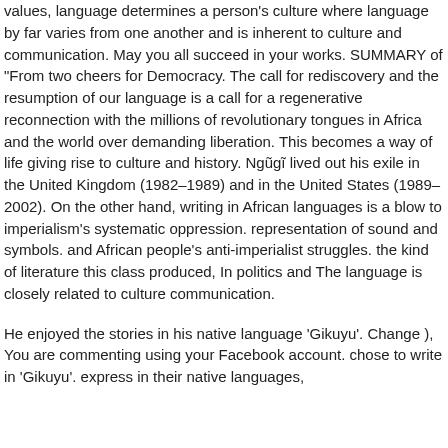values, language determines a person's culture where language by far varies from one another and is inherent to culture and communication. May you all succeed in your works. SUMMARY of "From two cheers for Democracy. The call for rediscovery and the resumption of our language is a call for a regenerative reconnection with the millions of revolutionary tongues in Africa and the world over demanding liberation. This becomes a way of life giving rise to culture and history. Ngũgĩ lived out his exile in the United Kingdom (1982–1989) and in the United States (1989–2002). On the other hand, writing in African languages is a blow to imperialism's systematic oppression. representation of sound and symbols. and African people's anti-imperialist struggles. the kind of literature this class produced, In politics and The language is closely related to culture communication.
He enjoyed the stories in his native language 'Gikuyu'. Change ), You are commenting using your Facebook account. chose to write in 'Gikuyu'. express in their native languages,